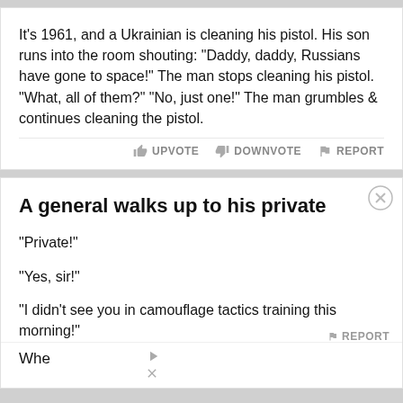It's 1961, and a Ukrainian is cleaning his pistol. His son runs into the room shouting: "Daddy, daddy, Russians have gone to space!" The man stops cleaning his pistol. "What, all of them?" "No, just one!" The man grumbles & continues cleaning the pistol.
UPVOTE   DOWNVOTE   REPORT
A general walks up to his private
"Private!"
"Yes, sir!"
"I didn't see you in camouflage tactics training this morning!"
"Tha
[Figure (infographic): Lidl advertisement banner: Lidl logo (blue square with yellow L), text 'Lidl: More Food for Less Money', 'Lidl', and a blue diamond arrow icon]
Whe